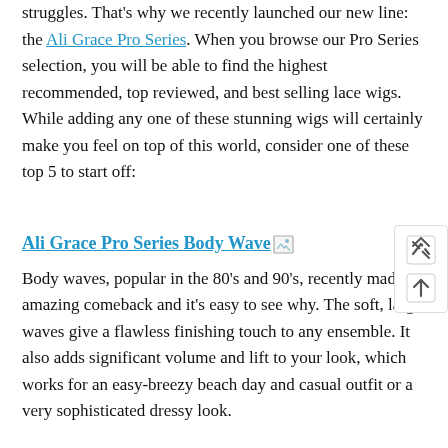struggles. That's why we recently launched our new line: the Ali Grace Pro Series. When you browse our Pro Series selection, you will be able to find the highest recommended, top reviewed, and best selling lace wigs. While adding any one of these stunning wigs will certainly make you feel on top of this world, consider one of these top 5 to start off:
Ali Grace Pro Series Body Wave
Body waves, popular in the 80's and 90's, recently made an amazing comeback and it's easy to see why. The soft, large waves give a flawless finishing touch to any ensemble. It also adds significant volume and lift to your look, which works for an easy-breezy beach day and casual outfit or a very sophisticated dressy look.